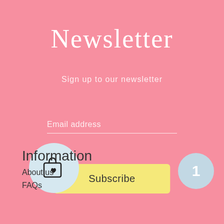Newsletter
Sign up to our newsletter
Email address
Subscribe
Information
About us
FAQs
[Figure (illustration): Shopping bag icon with heart inside a light blue circle]
[Figure (illustration): Light blue circle with number 1 inside]